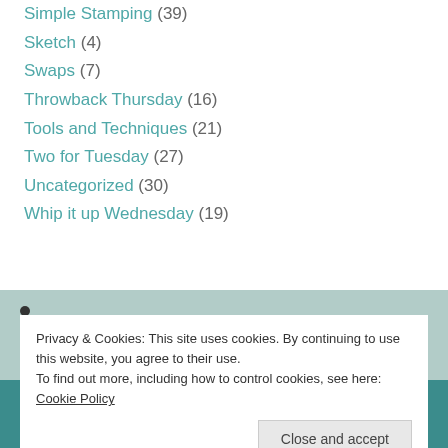Simple Stamping (39)
Sketch (4)
Swaps (7)
Throwback Thursday (16)
Tools and Techniques (21)
Two for Tuesday (27)
Uncategorized (30)
Whip it up Wednesday (19)
Privacy & Cookies: This site uses cookies. By continuing to use this website, you agree to their use. To find out more, including how to control cookies, see here: Cookie Policy
Close and accept